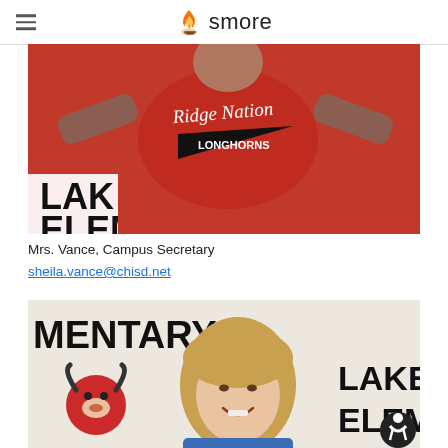smore
[Figure (photo): Person wearing a red 'Ridge Nation Longhorns' shirt standing in front of a 'Lake Elementary' banner]
Mrs. Vance, Campus Secretary
sheila.vance@chisd.net
[Figure (photo): Smiling woman with blonde hair standing in front of a 'Lake Elementary' banner with longhorn mascot logos]